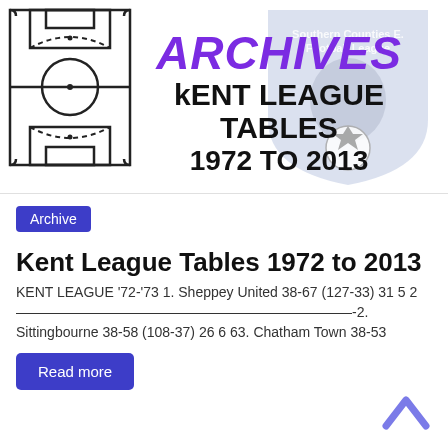[Figure (illustration): Banner with soccer field diagram on left, Southern Counties East Football League shield on right, and text overlay reading ARCHIVES KENT LEAGUE TABLES 1972 TO 2013]
Kent League Tables 1972 to 2013
Archive
KENT LEAGUE '72-'73 1. Sheppey United 38-67 (127-33) 31 5 2————————————————————————-2. Sittingbourne 38-58 (108-37) 26 6 63. Chatham Town 38-53
Read more